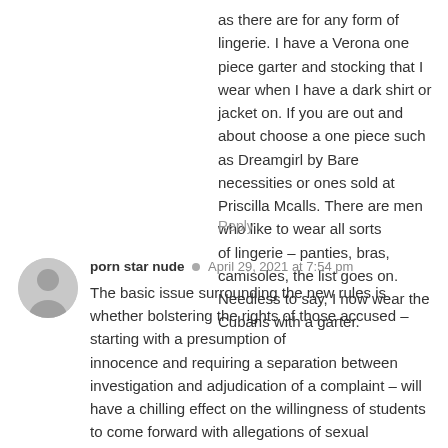as there are for any form of lingerie. I have a Verona one piece garter and stocking that I wear when I have a dark shirt or jacket on. If you are out and about choose a one piece such as Dreamgirl by Bare necessities or ones sold at Priscilla Mcalls. There are men who like to wear all sorts of lingerie – panties, bras, camisoles, the list goes on. Needless to say, I now wear the Cubans with a garter.
Reply
porn star nude · April 29, 2021 at 7:54 pm
The basic issue surrounding the new rules is whether bolstering the rights of those accused – starting with a presumption of innocence and requiring a separation between investigation and adjudication of a complaint – will have a chilling effect on the willingness of students to come forward with allegations of sexual misconduct.